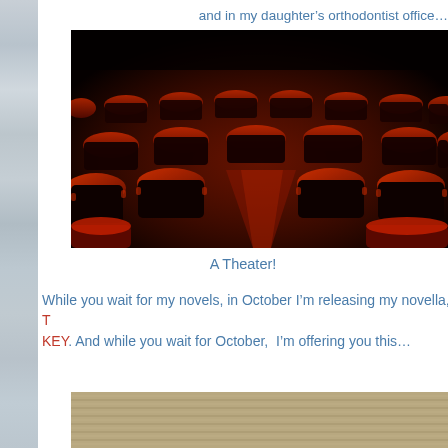and in my daughter's orthodontist office…
[Figure (photo): Dark theater with rows of empty red velvet seats illuminated by a reddish light]
A Theater!
While you wait for my novels, in October I'm releasing my novella, T KEY. And while you wait for October,  I'm offering you this…
[Figure (photo): Partial bottom image, appears to be a wooden or striped surface]